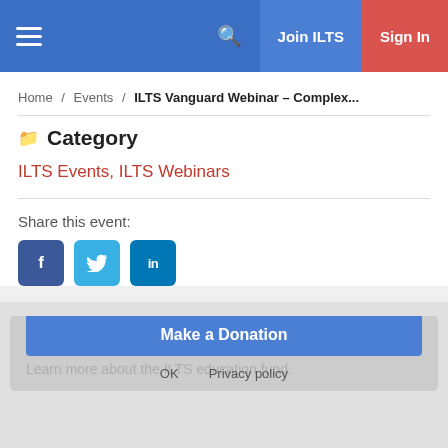≡  🔍  Join ILTS  Sign In
Home / Events / ILTS Vanguard Webinar – Complex...
📁 Category
ILTS Events, ILTS Webinars
Share this event:
f  t  in
Members' Fund for Education
We use cookies to ensure that we give you the best experience on our website. By continuing to use this site you are agreeing to our use of cookies.
Make a Donation
Learn more about the ILTS education fund.
OK  Privacy policy